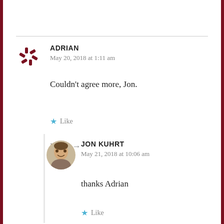ADRIAN
May 20, 2018 at 1:11 am
Couldn't agree more, Jon.
Like
Reply →
[Figure (photo): Circular avatar photo of Jon Kuhrt]
JON KUHRT
May 21, 2018 at 10:06 am
thanks Adrian
Like